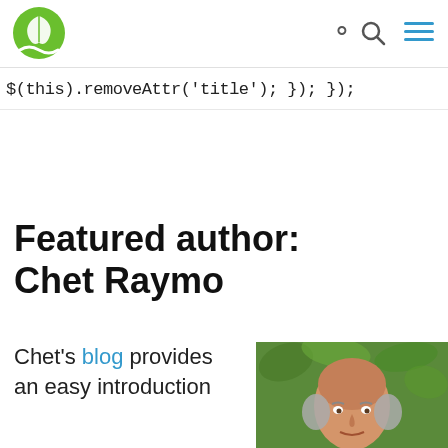Logo, search, and menu navigation header
$(this).removeAttr('title'); }); });
Featured author: Chet Raymo
[Figure (photo): Headshot photo of Chet Raymo, an older bald man with grey hair on sides, in front of green foliage]
Chet's blog provides an easy introduction